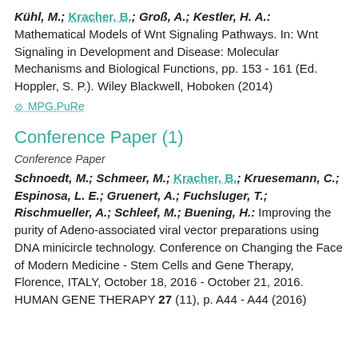Kühl, M.; Kracher, B.; Groß, A.; Kestler, H. A.: Mathematical Models of Wnt Signaling Pathways. In: Wnt Signaling in Development and Disease: Molecular Mechanisms and Biological Functions, pp. 153 - 161 (Ed. Hoppler, S. P.). Wiley Blackwell, Hoboken (2014)
⊘ MPG.PuRe
Conference Paper (1)
Conference Paper
Schnoedt, M.; Schmeer, M.; Kracher, B.; Kruesemann, C.; Espinosa, L. E.; Gruenert, A.; Fuchsluger, T.; Rischmueller, A.; Schleef, M.; Buening, H.: Improving the purity of Adeno-associated viral vector preparations using DNA minicircle technology. Conference on Changing the Face of Modern Medicine - Stem Cells and Gene Therapy, Florence, ITALY, October 18, 2016 - October 21, 2016. HUMAN GENE THERAPY 27 (11), p. A44 - A44 (2016)